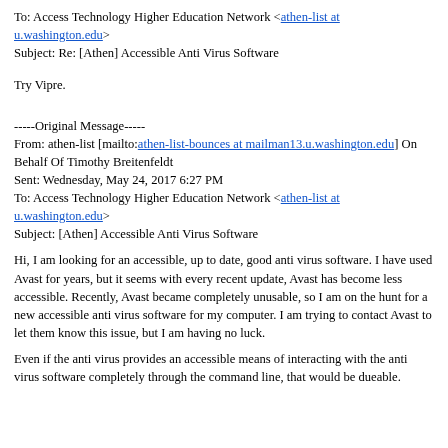To: Access Technology Higher Education Network <athen-list at u.washington.edu>
Subject: Re: [Athen] Accessible Anti Virus Software
Try Vipre.
-----Original Message-----
From: athen-list [mailto:athen-list-bounces at mailman13.u.washington.edu] On Behalf Of Timothy Breitenfeldt
Sent: Wednesday, May 24, 2017 6:27 PM
To: Access Technology Higher Education Network <athen-list at u.washington.edu>
Subject: [Athen] Accessible Anti Virus Software
Hi, I am looking for an accessible, up to date, good anti virus software. I have used Avast for years, but it seems with every recent update, Avast has become less accessible. Recently, Avast became completely unusable, so I am on the hunt for a new accessible anti virus software for my computer. I am trying to contact Avast to let them know this issue, but I am having no luck.
Even if the anti virus provides an accessible means of interacting with the anti virus software completely through the command line, that would be dueable.